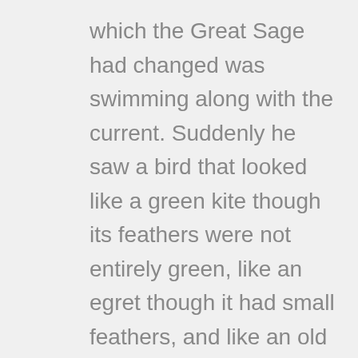which the Great Sage had changed was swimming along with the current. Suddenly he saw a bird that looked like a green kite though its feathers were not entirely green, like an egret though it had small feathers, and like an old crane though its feet were not red. “That must be the transformed Erlang waiting for me,” he thought to himself. He swiftly turned around and swam away after releasing a few bubbles. When Erlang saw this,